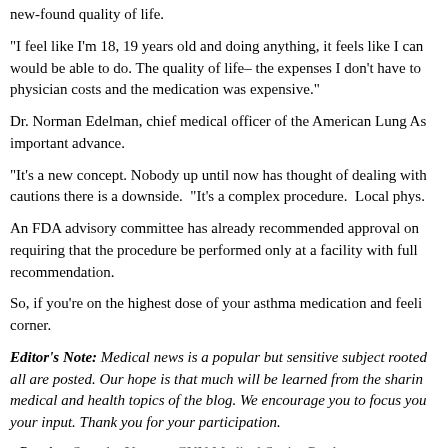new-found quality of life.
"I feel like I'm 18, 19 years old and doing anything, it feels like I can would be able to do. The quality of life– the expenses I don't have to physician costs and the medication was expensive."
Dr. Norman Edelman, chief medical officer of the American Lung As important advance.
"It's a new concept. Nobody up until now has thought of dealing with cautions there is a downside.  "It's a complex procedure.  Local phys.
An FDA advisory committee has already recommended approval on requiring that the procedure be performed only at a facility with full recommendation.
So, if you're on the highest dose of your asthma medication and feeli corner.
Editor's Note: Medical news is a popular but sensitive subject rooted all are posted. Our hope is that much will be learned from the sharin medical and health topics of the blog. We encourage you to focus you your input. Thank you for your participation.
Post by: Saundra Young - CNN Medical Senior Producer